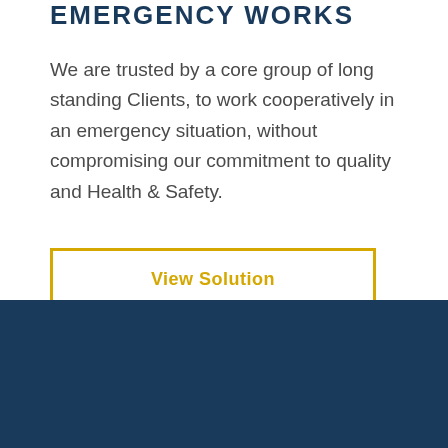EMERGENCY WORKS
We are trusted by a core group of long standing Clients, to work cooperatively in an emergency situation, without compromising our commitment to quality and Health & Safety.
View Solution
don't show again ×
We use Cookies | By using this website, you consent to our cookies policy